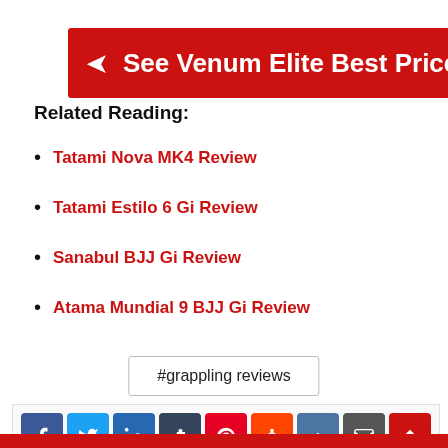[Figure (other): Red banner with arrow icon and text 'See Venum Elite Best Price']
Related Reading:
Tatami Nova MK4 Review
Tatami Estilo 6 Gi Review
Sanabul BJJ Gi Review
Atama Mundial 9 BJJ Gi Review
#grappling reviews
[Figure (other): Social share buttons: Facebook, Twitter, LinkedIn, Tumblr, Pinterest, Reddit, VK, Email, scroll-up, Print]